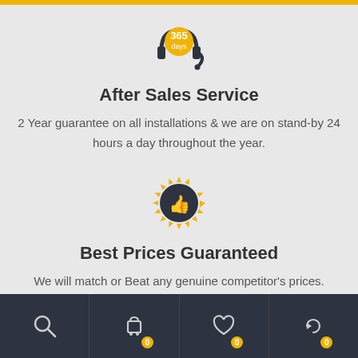[Figure (illustration): Headphone icon with a yellow circle containing '365 days' text]
After Sales Service
2 Year guarantee on all installations & we are on stand-by 24 hours a day throughout the year.
[Figure (illustration): Gold sunburst badge with dark thumbs-up icon in center]
Best Prices Guaranteed
We will match or Beat any genuine competitor's prices. Call us today on
[Figure (illustration): Bottom navigation bar with search, cart (badge 0), heart (badge 0), and refresh (badge 0) icons on dark background]